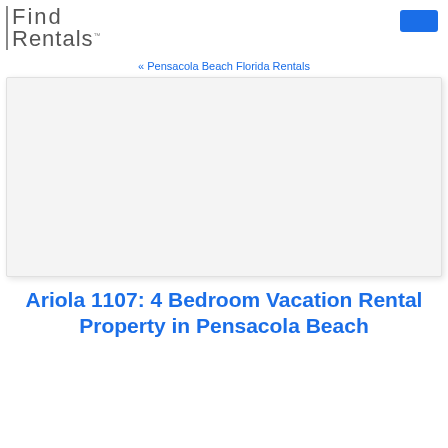[Figure (logo): Find Rentals logo with stylized text 'Find Rentals.' in light gray, and a blue rectangle button in the top right corner]
« Pensacola Beach Florida Rentals
[Figure (photo): Large white/blank image placeholder for a rental property photo]
Ariola 1107: 4 Bedroom Vacation Rental Property in Pensacola Beach